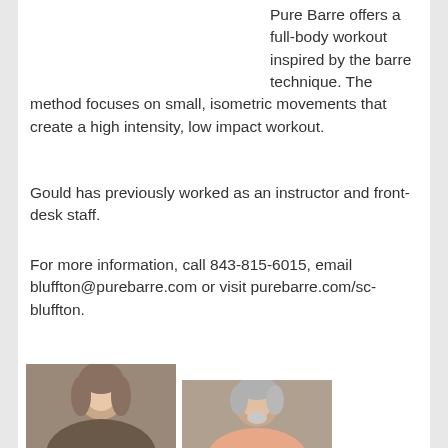[Figure (photo): Two small portrait photos of women at top left of page]
Pure Barre offers a full-body workout inspired by the barre technique. The method focuses on small, isometric movements that create a high intensity, low impact workout.
Gould has previously worked as an instructor and front-desk staff.
For more information, call 843-815-6015, email bluffton@purebarre.com or visit purebarre.com/sc-bluffton.
[Figure (photo): Portrait photo of a woman with gray-brown hair wearing a necklace]
[Figure (photo): Portrait photo of an older man with gray hair and beard wearing a pink shirt]